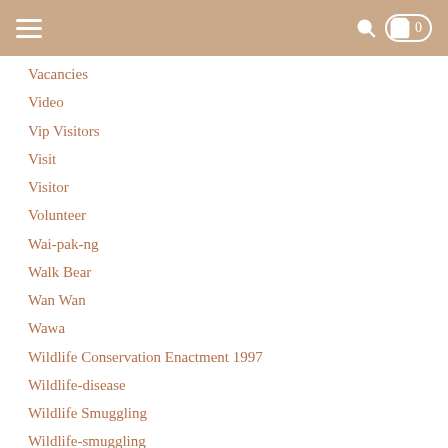Navigation header with hamburger menu and cart icon
Vacancies
Video
Vip Visitors
Visit
Visitor
Volunteer
Wai-pak-ng
Walk Bear
Wan Wan
Wawa
Wildlife Conservation Enactment 1997
Wildlife-disease
Wildlife Smuggling
Wildlife-smuggling
Wildlife Trade
Wildlife Trafficking
Wong Siew Te
Workshop
Yayasan Sime Darby